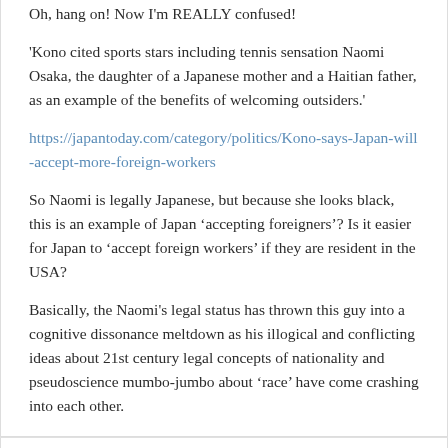Oh, hang on! Now I'm REALLY confused!
'Kono cited sports stars including tennis sensation Naomi Osaka, the daughter of a Japanese mother and a Haitian father, as an example of the benefits of welcoming outsiders.'
https://japantoday.com/category/politics/Kono-says-Japan-will-accept-more-foreign-workers
So Naomi is legally Japanese, but because she looks black, this is an example of Japan ‘accepting foreigners’? Is it easier for Japan to ‘accept foreign workers’ if they are resident in the USA?
Basically, the Naomi's legal status has thrown this guy into a cognitive dissonance meltdown as his illogical and conflicting ideas about 21st century legal concepts of nationality and pseudoscience mumbo-jumbo about ‘race’ have come crashing into each other.
September 13, 2018 at 1:53 pm
Jim Di Griz says:
I've woken up properly now. I know what it is about Kono's